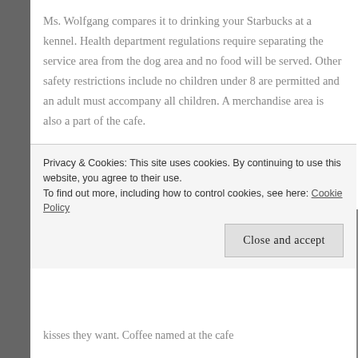Ms. Wolfgang compares it to drinking your Starbucks at a kennel. Health department regulations require separating the service area from the dog area and no food will be served. Other safety restrictions include no children under 8 are permitted and an adult must accompany all children. A merchandise area is also a part of the cafe.
The logic behind this new concept in rescues being these dogs are socialized in a less stressful setting while potential owners get a feel for the
Privacy & Cookies: This site uses cookies. By continuing to use this website, you agree to their use.
To find out more, including how to control cookies, see here: Cookie Policy
kisses they want. Coffee named at the cafe